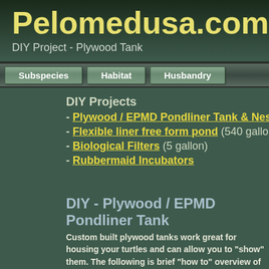Pelomedusa.com
DIY Project - Plywood Tank
Subspecies | Habitat | Husbandry
DIY Projects
- Plywood / EPMD Pondliner Tank & Nesting
- Flexible liner free form pond (540 gallon)
- Biological Filters (5 gallon)
- Rubbermaid Incubators
DIY - Plywood / EPMD Pondliner Tank
Custom built plywood tanks work great for housing your turtles and can allow you to "show" them. The following is brief "how to" overview of my p... same general plans were followed for both 90 gallon and 150 ga... internal braces because of the limited space in the turtle room. D... gallons I would utilize an external frame to handle the outward...